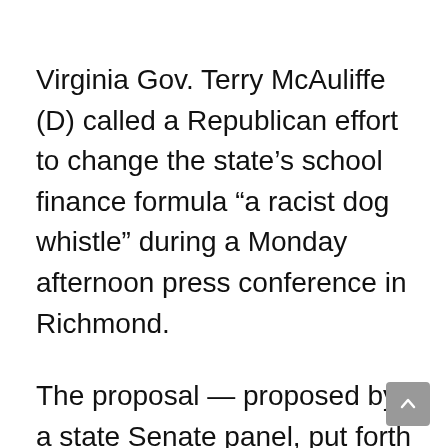Virginia Gov. Terry McAuliffe (D) called a Republican effort to change the state's school finance formula “a racist dog whistle” during a Monday afternoon press conference in Richmond.
The proposal — proposed by a state Senate panel, put forth by GOP lawmakers and supported by Democrats — would use the standards administered under the federally set Common Core curriculum to calculate